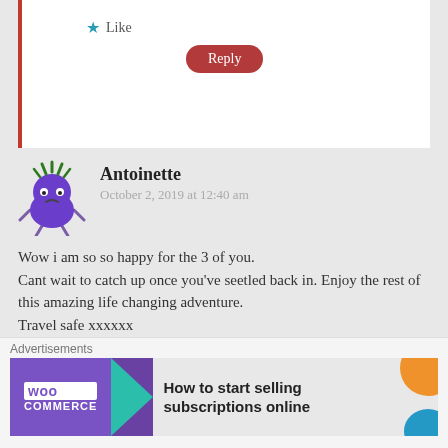Like
Reply
Antoinette
October 2, 2019 at 12:40 am
Wow i am so so happy for the 3 of you.
Cant wait to catch up once you've seetled back in. Enjoy the rest of this amazing life changing adventure.
Travel safe xxxxxx
Liked by 1 person
Reply
Gabrielle Gassin
Advertisements
How to start selling subscriptions online